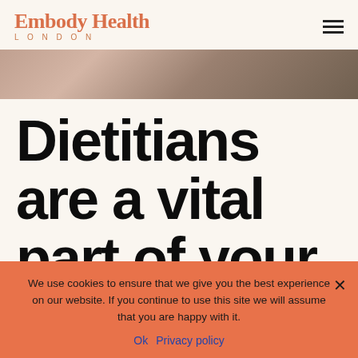Embody Health LONDON
[Figure (photo): Partial view of a person, cropped hero image with warm brown tones]
Dietitians are a vital part of your eating
We use cookies to ensure that we give you the best experience on our website. If you continue to use this site we will assume that you are happy with it.
Ok   Privacy policy